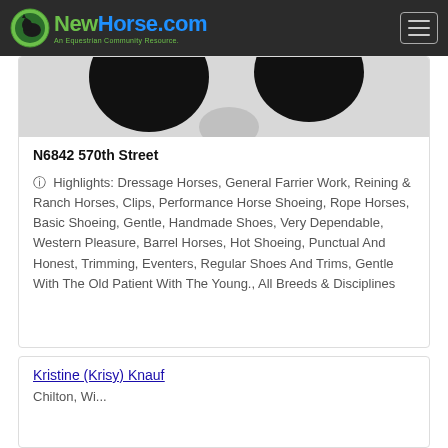NewHorse.com — An Equestrian Community Resource.
[Figure (photo): Black silhouette horse image, partially cropped]
N6842 570th Street
Highlights: Dressage Horses, General Farrier Work, Reining & Ranch Horses, Clips, Performance Horse Shoeing, Rope Horses, Basic Shoeing, Gentle, Handmade Shoes, Very Dependable, Western Pleasure, Barrel Horses, Hot Shoeing, Punctual And Honest, Trimming, Eventers, Regular Shoes And Trims, Gentle With The Old Patient With The Young., All Breeds & Disciplines
Kristine (Krisy) Knauf
Chilton, Wi...